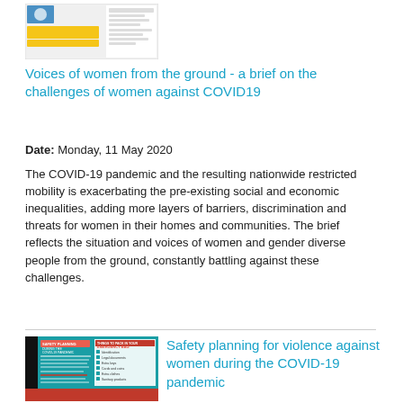[Figure (screenshot): Thumbnail image of a document - appears to be a brief with UN-related branding, yellow and white content areas with text and a logo.]
Voices of women from the ground - a brief on the challenges of women against COVID19
Date: Monday, 11 May 2020
The COVID-19 pandemic and the resulting nationwide restricted mobility is exacerbating the pre-existing social and economic inequalities, adding more layers of barriers, discrimination and threats for women in their homes and communities. The brief reflects the situation and voices of women and gender diverse people from the ground, constantly battling against these challenges.
[Figure (screenshot): Thumbnail of a safety planning infographic titled 'SAFETY PLANNING DURING THE COVID-19 PANDEMIC' with teal and red design, listing things to pack in an emergency bag and things to consider under travel restrictions.]
Safety planning for violence against women during the COVID-19 pandemic